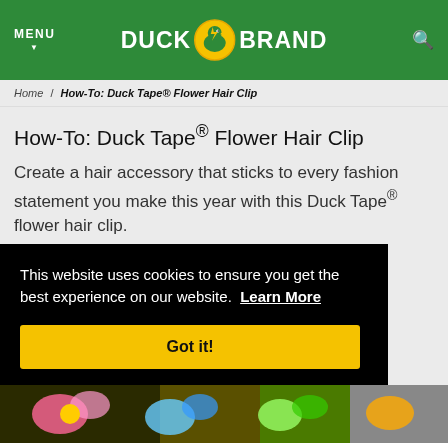MENU / DUCK BRAND (logo) / Search
Home / How-To: Duck Tape® Flower Hair Clip
How-To: Duck Tape® Flower Hair Clip
Create a hair accessory that sticks to every fashion statement you make this year with this Duck Tape® flower hair clip.
This website uses cookies to ensure you get the best experience on our website. Learn More
Got it!
[Figure (photo): Colorful Duck Tape flower hair clip crafts at the bottom of the page]